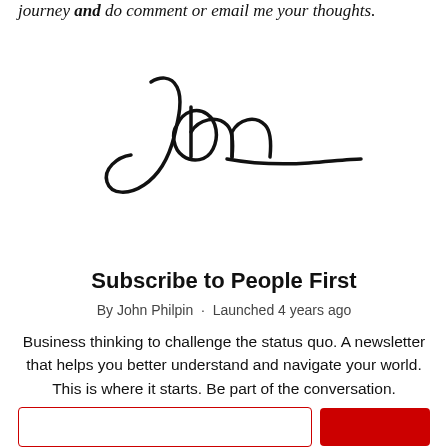journey and do comment or email me your thoughts.
[Figure (illustration): Handwritten cursive signature reading 'John']
Subscribe to People First
By John Philpin · Launched 4 years ago
Business thinking to challenge the status quo. A newsletter that helps you better understand and navigate your world. This is where it starts. Be part of the conversation.